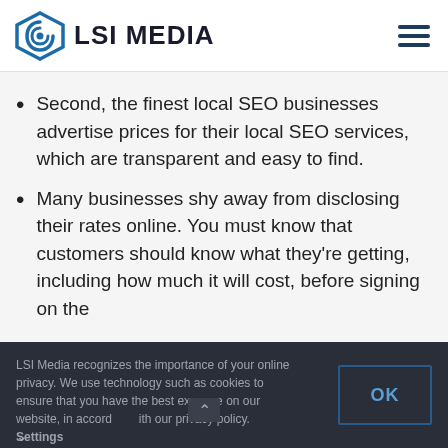[Figure (logo): LSI Media logo with diamond/spiral icon in blue, text reads LSI MEDIA]
Second, the finest local SEO businesses advertise prices for their local SEO services, which are transparent and easy to find.
Many businesses shy away from disclosing their rates online. You must know that customers should know what they’re getting, including how much it will cost, before signing on the
LSI Media recognizes the importance of your online privacy. We use technology such as cookies to ensure that you have the best experience on our website, in accordance with our privacy policy. Settings